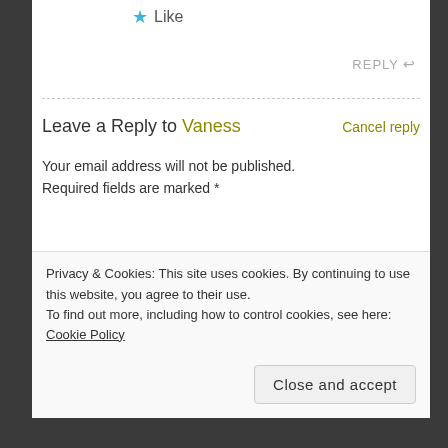★ Like
REPLY ↩
Leave a Reply to Vaness    Cancel reply
Your email address will not be published. Required fields are marked *
Comment
*
Privacy & Cookies: This site uses cookies. By continuing to use this website, you agree to their use.
To find out more, including how to control cookies, see here: Cookie Policy
Close and accept